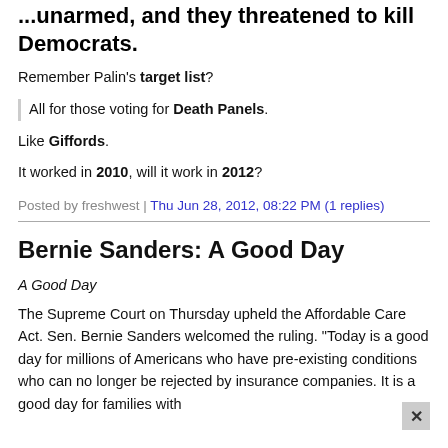...unarmed, and they threatened to kill Democrats.
Remember Palin's target list?
All for those voting for Death Panels.
Like Giffords.
It worked in 2010, will it work in 2012?
Posted by freshwest | Thu Jun 28, 2012, 08:22 PM (1 replies)
Bernie Sanders: A Good Day
A Good Day
The Supreme Court on Thursday upheld the Affordable Care Act. Sen. Bernie Sanders welcomed the ruling. "Today is a good day for millions of Americans who have pre-existing conditions who can no longer be rejected by insurance companies. It is a good day for families with